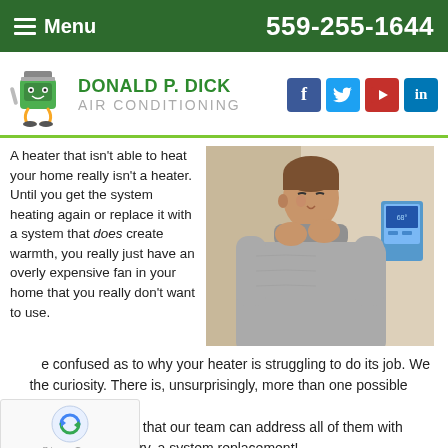Menu  559-255-1644
[Figure (logo): Donald P. Dick Air Conditioning logo with mascot character and social media icons (Facebook, Twitter, YouTube, LinkedIn)]
A heater that isn't able to heat your home really isn't a heater. Until you get the system heating again or replace it with a system that does create warmth, you really just have an overly expensive fan in your home that you really don't want to use.
[Figure (photo): Man in grey turtleneck sweater blowing on his hands to warm up, standing near a thermostat on a wall]
confused as to why your heater is struggling to do its job. We the curiosity. There is, unsurprisingly, more than one possible cause e. The good news is that our team can address all of them with repairs or, if necessary, a system replacement!